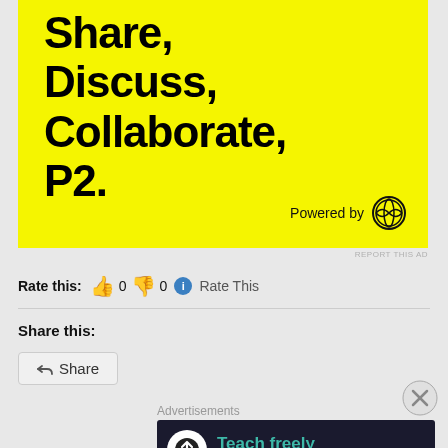[Figure (screenshot): Yellow advertisement banner with bold black text reading 'Share, Discuss, Collaborate, P2.' and 'Powered by WordPress' logo at bottom right]
REPORT THIS AD
Rate this: 👍 0 👎 0 ℹ Rate This
Share this:
< Share
Advertisements
[Figure (screenshot): Dark advertisement banner for 'Teach freely - Make money selling online courses']